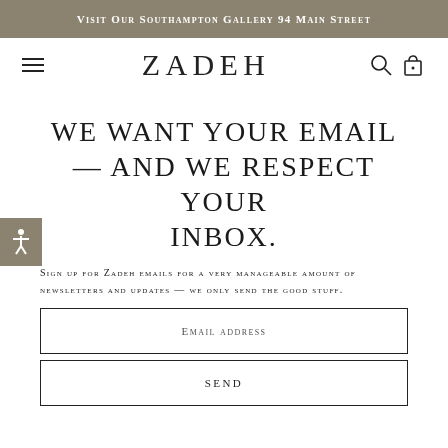Visit Our Southampton Gallery 94 Main Street
ZADEH
WE WANT YOUR EMAIL — AND WE RESPECT YOUR INBOX.
Sign up for Zadeh emails for a very manageable amount of newsletters and updates — we only send the good stuff.
Email address
SEND